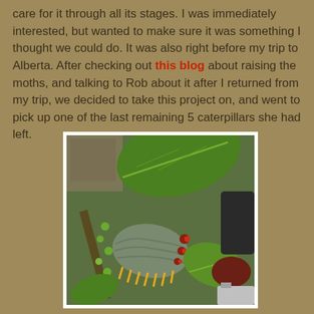care for it through all its stages. I was immediately interested, but wanted to make sure it was something I thought we could do. It was also right before my trip to Alberta. After checking out this blog about raising the moths, and talking to Rob about it after I returned from my trip, we decided to take this project on, and went to pick up one of the last remaining 5 caterpillars she had left.
[Figure (photo): Close-up photograph of a large green caterpillar with orange and red markings/spines on a branch with green leaves, taken indoors]